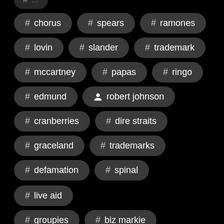# chorus
# spears
# ramones
# lovin
# slander
# trademark
# mccartney
# papas
# ringo
# edmund
person robert johnson
# cranberries
# dire straits
# graceland
# trademarks
# defamation
# spinal
# live aid
# groupies
# biz markie
# conservatorship
# sesame